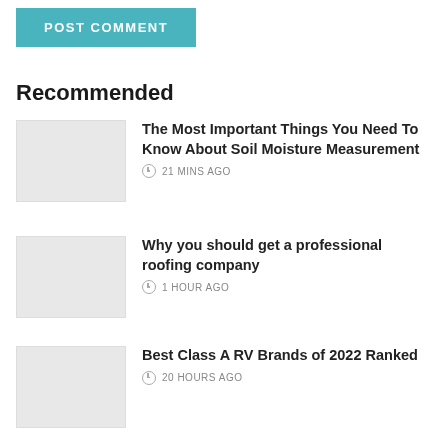POST COMMENT
Recommended
The Most Important Things You Need To Know About Soil Moisture Measurement
21 MINS AGO
Why you should get a professional roofing company
1 HOUR AGO
Best Class A RV Brands of 2022 Ranked
20 HOURS AGO
Best Cities to Buy Property in Australia
22 HOURS AGO
Why You Should Consider Investing in